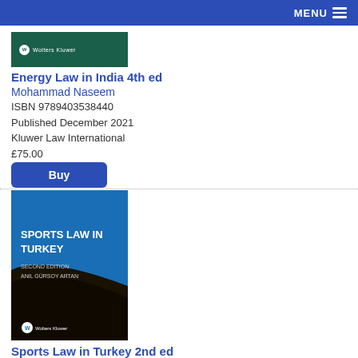MENU
[Figure (illustration): Wolters Kluwer green book cover for Energy Law in India 4th ed]
Energy Law in India 4th ed
Mohammad Naseem
ISBN 9789403538440
Published December 2021
Kluwer Law International
£75.00
Buy
[Figure (illustration): Wolters Kluwer book cover for Sports Law in Turkey 2nd ed — blue and dark brown design]
Sports Law in Turkey 2nd ed
Anıl Gürsoy Artan